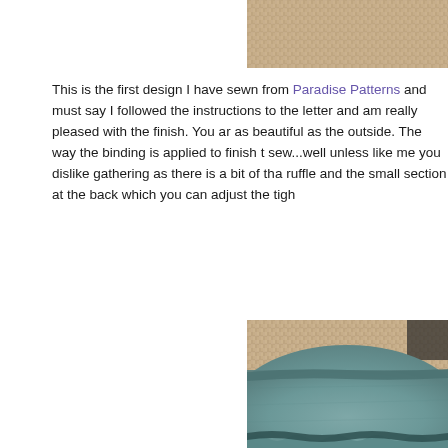[Figure (photo): Partial photo of a woven/rattan textured surface, cropped at top right of page.]
This is the first design I have sewn from Paradise Patterns and must say I followed the instructions to the letter and am really pleased with the finish. You are able to see inside is as beautiful as the outside. The way the binding is applied to finish the inside is a delight to sew...well unless like me you dislike gathering as there is a bit of that in this design with the ruffle and the small section at the back which you can adjust the tigh
[Figure (photo): Close-up photo of teal/grey-blue linen fabric with gathering/ruffle at bottom, laid on a woven rattan surface. Shows the inside binding detail of a garment.]